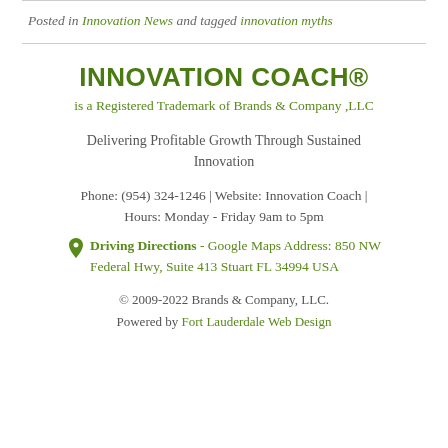Posted in Innovation News and tagged innovation myths
INNOVATION COACH® is a Registered Trademark of Brands & Company ,LLC
Delivering Profitable Growth Through Sustained Innovation
Phone: (954) 324-1246 | Website: Innovation Coach | Hours: Monday - Friday 9am to 5pm
Driving Directions - Google Maps Address: 850 NW Federal Hwy, Suite 413 Stuart FL 34994 USA
© 2009-2022 Brands & Company, LLC. Powered by Fort Lauderdale Web Design